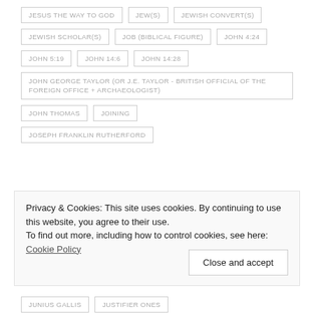JESUS THE WAY TO GOD
JEW(S)
JEWISH CONVERT(S)
JEWISH SCHOLAR(S)
JOB (BIBLICAL FIGURE)
JOHN 4:24
JOHN 5:19
JOHN 14:6
JOHN 14:28
JOHN GEORGE TAYLOR (OR J.E. TAYLOR - BRITISH OFFICIAL OF THE FOREIGN OFFICE + ARCHAEOLOGIST)
JOHN THOMAS
JOINING
JOSEPH FRANKLIN RUTHERFORD
Privacy & Cookies: This site uses cookies. By continuing to use this website, you agree to their use. To find out more, including how to control cookies, see here: Cookie Policy
JUNIUS GALLIS
JUSTIFIER ONES